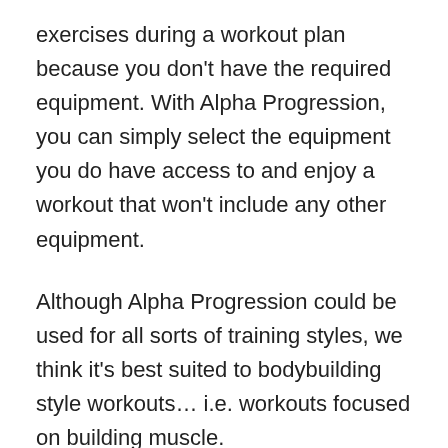exercises during a workout plan because you don't have the required equipment. With Alpha Progression, you can simply select the equipment you do have access to and enjoy a workout that won't include any other equipment.
Although Alpha Progression could be used for all sorts of training styles, we think it's best suited to bodybuilding style workouts… i.e. workouts focused on building muscle.
With graphs to illustrate your 10RM and improvements over time, the app naturally encourages you to opt for volume, helping you